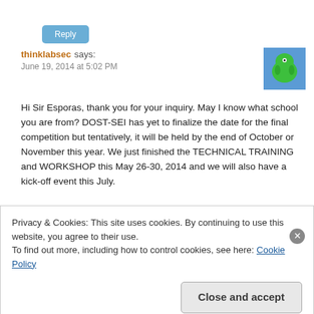Reply
thinklabsec says:
June 19, 2014 at 5:02 PM
[Figure (illustration): Green blob avatar on blue background]
Hi Sir Esporas, thank you for your inquiry. May I know what school you are from? DOST-SEI has yet to finalize the date for the final competition but tentatively, it will be held by the end of October or November this year. We just finished the TECHNICAL TRAINING and WORKSHOP this May 26-30, 2014 and we will also have a kick-off event this July.
Privacy & Cookies: This site uses cookies. By continuing to use this website, you agree to their use. To find out more, including how to control cookies, see here: Cookie Policy
Close and accept